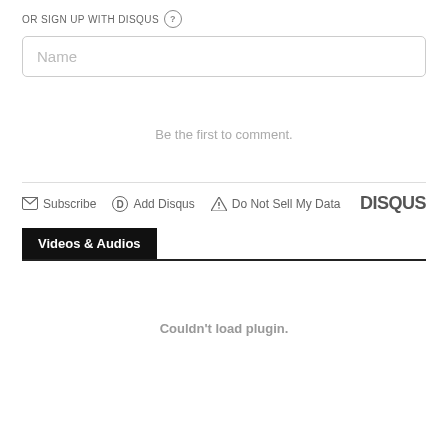OR SIGN UP WITH DISQUS ?
Name
Be the first to comment.
Subscribe  Add Disqus  Do Not Sell My Data  DISQUS
Videos & Audios
Couldn't load plugin.